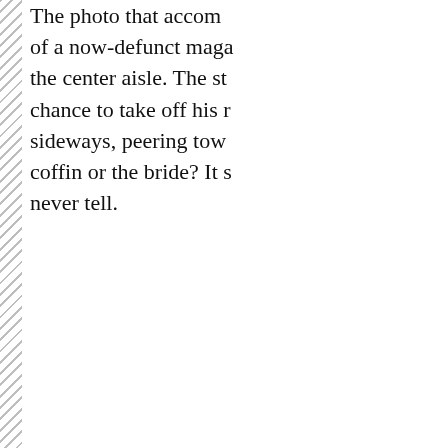The photo that accom of a now-defunct maga the center aisle. The st chance to take off his sideways, peering tow coffin or the bride? It s never tell.
[Figure (photo): Bottom portion of the page showing a dark/black area with a yellow horizontal stripe, a piece of tape across the stripe, and a hatched border pattern on the right side of a white document panel above.]